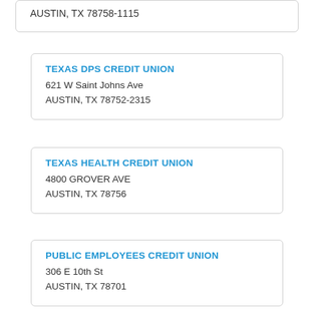AUSTIN, TX 78758-1115
TEXAS DPS CREDIT UNION
621 W Saint Johns Ave
AUSTIN, TX 78752-2315
TEXAS HEALTH CREDIT UNION
4800 GROVER AVE
AUSTIN, TX 78756
PUBLIC EMPLOYEES CREDIT UNION
306 E 10th St
AUSTIN, TX 78701